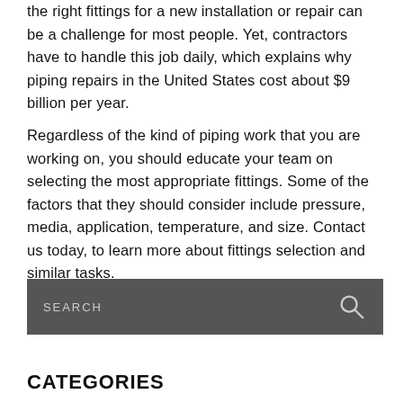the right fittings for a new installation or repair can be a challenge for most people. Yet, contractors have to handle this job daily, which explains why piping repairs in the United States cost about $9 billion per year.
Regardless of the kind of piping work that you are working on, you should educate your team on selecting the most appropriate fittings. Some of the factors that they should consider include pressure, media, application, temperature, and size. Contact us today, to learn more about fittings selection and similar tasks.
[Figure (other): Search bar with dark grey background, 'SEARCH' placeholder text in light grey, and a search (magnifying glass) icon on the right]
CATEGORIES